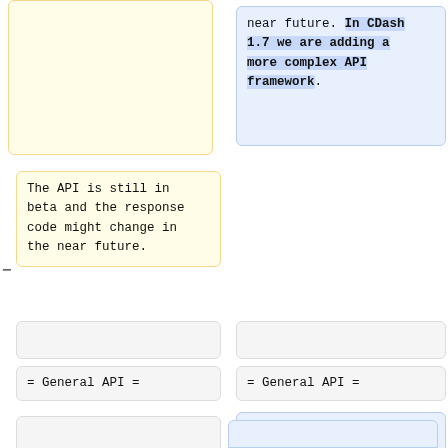(top of right column, truncated) near future. In CDash 1.7 we are adding a more complex API framework.
The API is still in beta and the response code might change in the near future.
= General API =
= General API =
This section describes the CDash web API. The CDash REST API is generic and the GET url is usually formatted as follows: